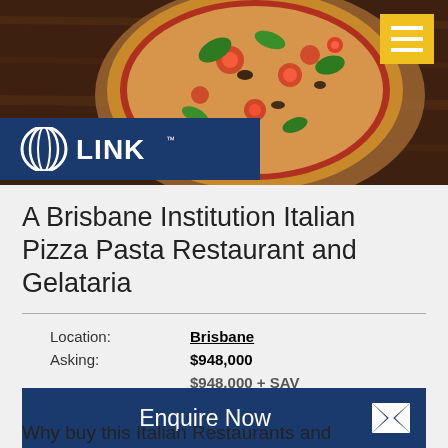[Figure (photo): Pizza on a wooden board with basil, tomatoes, and cheese toppings, dark wood background]
A Brisbane Institution Italian Pizza Pasta Restaurant and Gelataria
Location: Brisbane
Asking: $948,000
$948,000 + SAV
Type: Retail-Food Other / Hospitality-Restaurants
Enquire Now
Why buy this Italian Restaurants and